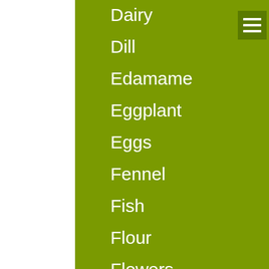Dairy
Dill
Edamame
Eggplant
Eggs
Fennel
Fish
Flour
Flowers
Garlic
Ghee
Ginger